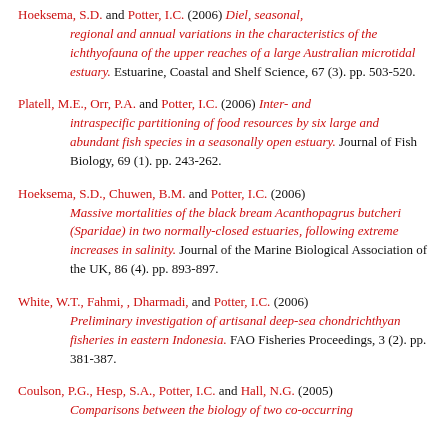Hoeksema, S.D. and Potter, I.C. (2006) Diel, seasonal, regional and annual variations in the characteristics of the ichthyofauna of the upper reaches of a large Australian microtidal estuary. Estuarine, Coastal and Shelf Science, 67 (3). pp. 503-520.
Platell, M.E., Orr, P.A. and Potter, I.C. (2006) Inter- and intraspecific partitioning of food resources by six large and abundant fish species in a seasonally open estuary. Journal of Fish Biology, 69 (1). pp. 243-262.
Hoeksema, S.D., Chuwen, B.M. and Potter, I.C. (2006) Massive mortalities of the black bream Acanthopagrus butcheri (Sparidae) in two normally-closed estuaries, following extreme increases in salinity. Journal of the Marine Biological Association of the UK, 86 (4). pp. 893-897.
White, W.T., Fahmi, , Dharmadi, and Potter, I.C. (2006) Preliminary investigation of artisanal deep-sea chondrichthyan fisheries in eastern Indonesia. FAO Fisheries Proceedings, 3 (2). pp. 381-387.
Coulson, P.G., Hesp, S.A., Potter, I.C. and Hall, N.G. (2005) Comparisons between the biology of two co-occurring